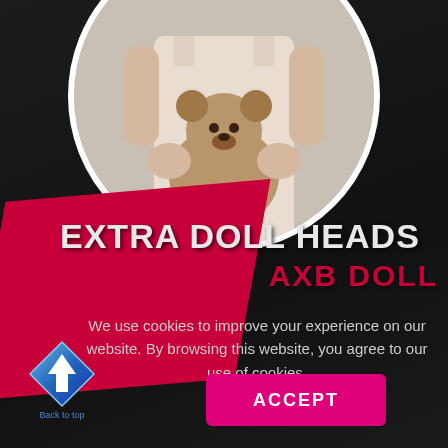[Figure (photo): Circular framed photo of a person in light dress holding a teddy bear, with white circular border on dark background]
EXTRA DOLL HEADS
AXB DOLL
We use cookies to improve your experience on our website. By browsing this website, you agree to our use of cookies.
[Figure (illustration): Blue diamond-shaped back-to-top arrow button with upward arrow icon]
Back to top
ACCEPT